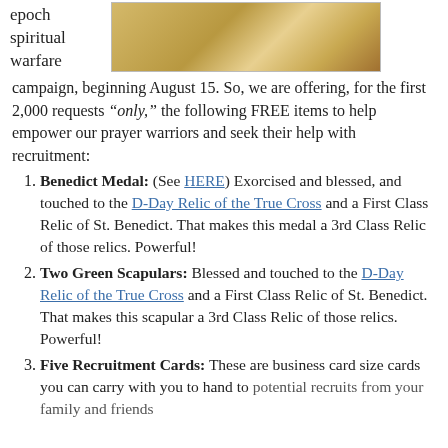epoch spiritual warfare
[Figure (photo): Photo of golden/brass religious items (candlesticks or similar objects) on a wooden surface]
campaign, beginning August 15. So, we are offering, for the first 2,000 requests “only,” the following FREE items to help empower our prayer warriors and seek their help with recruitment:
Benedict Medal: (See HERE) Exorcised and blessed, and touched to the D-Day Relic of the True Cross and a First Class Relic of St. Benedict. That makes this medal a 3rd Class Relic of those relics. Powerful!
Two Green Scapulars: Blessed and touched to the D-Day Relic of the True Cross and a First Class Relic of St. Benedict. That makes this scapular a 3rd Class Relic of those relics. Powerful!
Five Recruitment Cards: These are business card size cards you can carry with you to hand to potential recruits from your family and friends